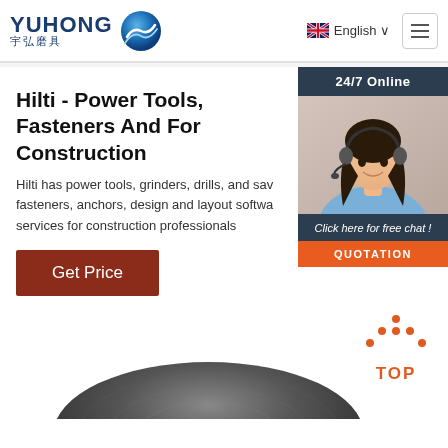[Figure (logo): YUHONG logo with Chinese characters 宇弘磨具 and blue wave/sphere icon]
English
Hilti - Power Tools, Fasteners And For Construction
Hilti has power tools, grinders, drills, and sav fasteners, anchors, design and layout softwa services for construction professionals
Get Price
[Figure (photo): 24/7 Online chat widget with photo of woman with headset, Click here for free chat, QUOTATION button]
[Figure (infographic): TOP back-to-top widget with orange dots arrow icon and TOP text]
[Figure (photo): Partial view of a dark abrasive grinding disc at the bottom of the page]